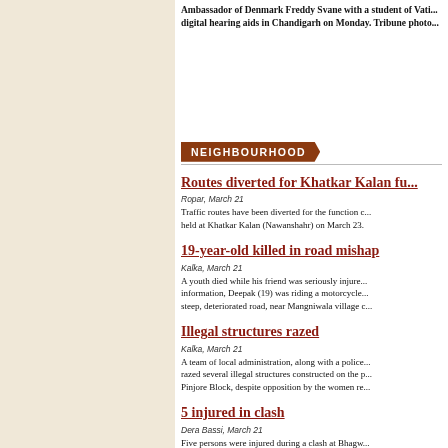Ambassador of Denmark Freddy Svane with a student of Vati... digital hearing aids in Chandigarh on Monday. Tribune photo...
NEIGHBOURHOOD
Routes diverted for Khatkar Kalan fu...
Ropar, March 21
Traffic routes have been diverted for the function c... held at Khatkar Kalan (Nawanshahr) on March 23.
19-year-old killed in road mishap
Kalka, March 21
A youth died while his friend was seriously injure... information, Deepak (19) was riding a motorcycle... steep, deteriorated road, near Mangniwala village c...
Illegal structures razed
Kalka, March 21
A team of local administration, along with a police... razed several illegal structures constructed on the p... Pinjore Block, despite opposition by the women re...
5 injured in clash
Dera Bassi, March 21
Five persons were injured during a clash at Bhagw...